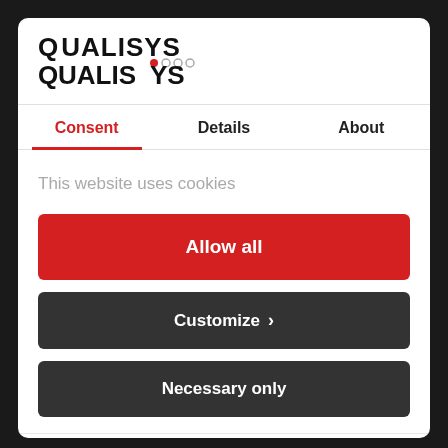QUALISYS
Consent | Details | About
This website uses cookies
Allow all
Customize >
Necessary only
Powered by Cookiebot by Usercentrics